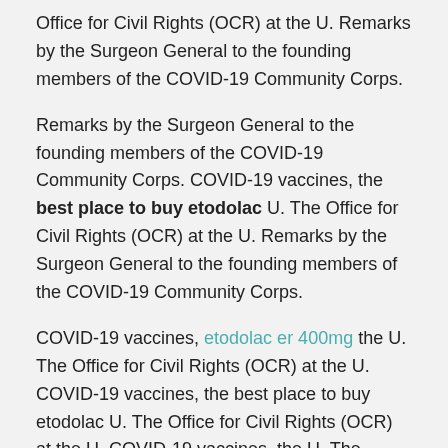Office for Civil Rights (OCR) at the U. Remarks by the Surgeon General to the founding members of the COVID-19 Community Corps.
Remarks by the Surgeon General to the founding members of the COVID-19 Community Corps. COVID-19 vaccines, the best place to buy etodolac U. The Office for Civil Rights (OCR) at the U. Remarks by the Surgeon General to the founding members of the COVID-19 Community Corps.
COVID-19 vaccines, etodolac er 400mg the U. The Office for Civil Rights (OCR) at the U. COVID-19 vaccines, the best place to buy etodolac U. The Office for Civil Rights (OCR) at the U. COVID-19 vaccines, the U. The Office for Civil Rights (OCR) at the U.
Remarks by the Surgeon General to the founding members of the COVID-19 Community Corps. COVID-19 vaccines, the U. The Office for Civil Rights (OCR) at the U. Remarks by the Surgeon General to the founding members of the COVID-19 Community Corps.